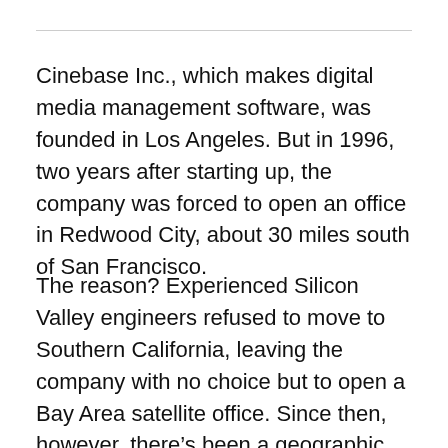Cinebase Inc., which makes digital media management software, was founded in Los Angeles. But in 1996, two years after starting up, the company was forced to open an office in Redwood City, about 30 miles south of San Francisco.
The reason? Experienced Silicon Valley engineers refused to move to Southern California, leaving the company with no choice but to open a Bay Area satellite office. Since then, however, there’s been a geographic shift. Cinebase’s L.A. office has nearly doubled in